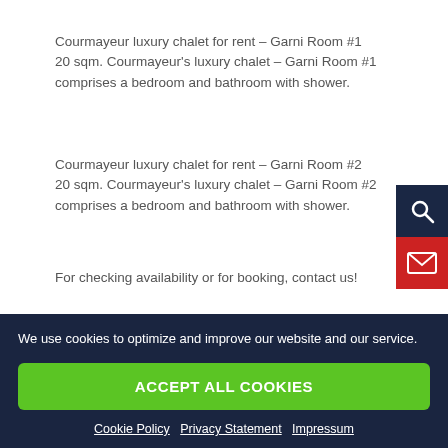Courmayeur luxury chalet for rent – Garni Room #1
20 sqm. Courmayeur's luxury chalet – Garni Room #1 comprises a bedroom and bathroom with shower.
Courmayeur luxury chalet for rent – Garni Room #2
20 sqm. Courmayeur's luxury chalet – Garni Room #2 comprises a bedroom and bathroom with shower.
For checking availability or for booking, contact us!
Courmayeur luxury chalet for rent – Position
This Courmayeur's luxury chalet for rent is an ideal
We use cookies to optimize and improve our website and our service.
ACCEPT ALL COOKIES
Cookie Policy   Privacy Statement   Impressum